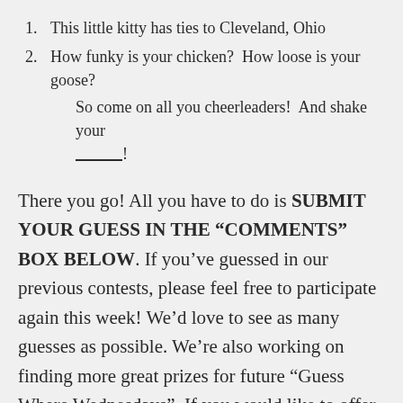1. This little kitty has ties to Cleveland, Ohio
2. How funky is your chicken?  How loose is your goose?  So come on all you cheerleaders!  And shake your _____!
There you go! All you have to do is SUBMIT YOUR GUESS IN THE “COMMENTS” BOX BELOW. If you’ve guessed in our previous contests, please feel free to participate again this week! We’d love to see as many guesses as possible. We’re also working on finding more great prizes for future “Guess Where Wednesdays”. If you would like to offer one of our upcoming “Guess Where Wednesday” prizes, please drop me a note at Liz@TheLubyGroup.com. Good